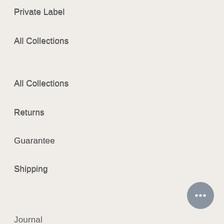Private Label
All Collections
All Collections
Returns
Guarantee
Shipping
Privacy Policy
Factory Store
Catalogue
California Consumer Privacy Act
Journal